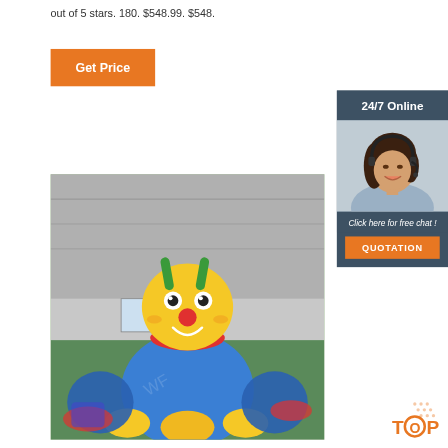out of 5 stars. 180. $548.99. $548.
Get Price
[Figure (photo): Large inflatable caterpillar/bee character toy in a warehouse, yellow round head with green antennae, red nose, blue round body, yellow legs, inside an industrial building with green floor]
[Figure (photo): Customer service sidebar: dark blue/teal panel showing '24/7 Online' header, photo of smiling woman with headset, text 'Click here for free chat!', orange QUOTATION button]
[Figure (infographic): Orange TOP button with decorative dots in bottom right corner]